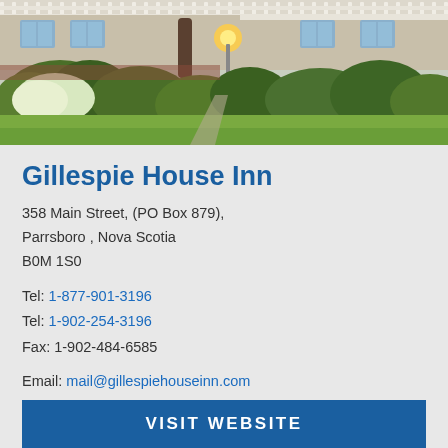[Figure (photo): Exterior photo of Gillespie House Inn showing a Victorian-style house with white fence, garden landscaping, trees, and a glowing lamp post at dusk]
Gillespie House Inn
358 Main Street, (PO Box 879),
Parrsboro , Nova Scotia
B0M 1S0
Tel: 1-877-901-3196
Tel: 1-902-254-3196
Fax: 1-902-484-6585
Email: mail@gillespiehouseinn.com
VISIT WEBSITE